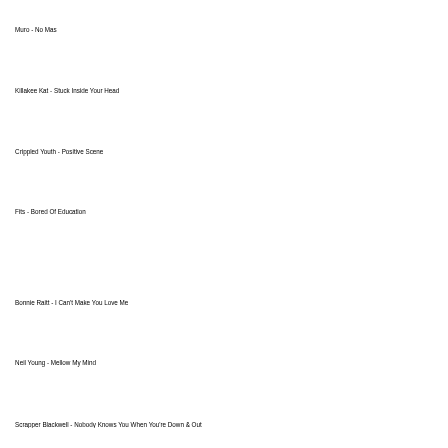Muro - No Mas
Killakee Kat - Stuck Inside Your Head
Crippled Youth - Positive Scene
Fits - Bored Of Education
Bonnie Raitt - I Can't Make You Love Me
Neil Young - Mellow My Mind
Scrapper Blackwell - Nobody Knows You When You're Down & Out